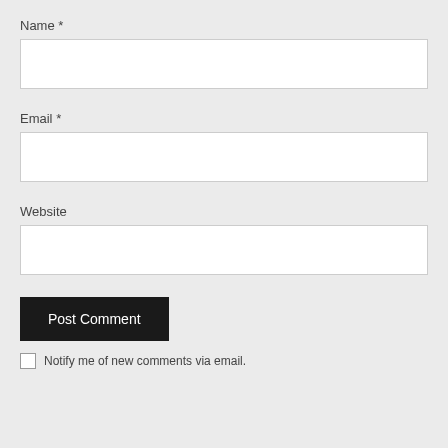Name *
[Figure (screenshot): Empty text input field for Name]
Email *
[Figure (screenshot): Empty text input field for Email]
Website
[Figure (screenshot): Empty text input field for Website]
Post Comment
Notify me of new comments via email.